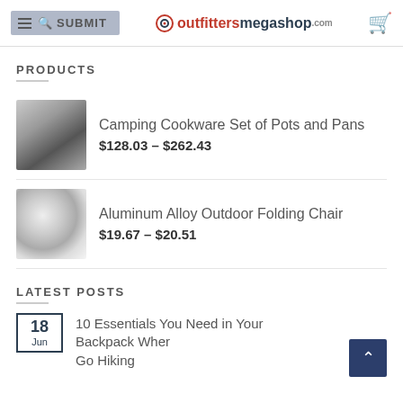SUBMIT | outfittersmegashop.com
PRODUCTS
Camping Cookware Set of Pots and Pans $128.03 – $262.43
Aluminum Alloy Outdoor Folding Chair $19.67 – $20.51
LATEST POSTS
18 Jun — 10 Essentials You Need in Your Backpack When Go Hiking